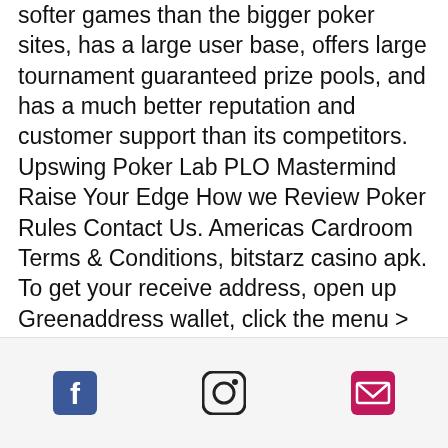softer games than the bigger poker sites, has a large user base, offers large tournament guaranteed prize pools, and has a much better reputation and customer support than its competitors. Upswing Poker Lab PLO Mastermind Raise Your Edge How we Review Poker Rules Contact Us. Americas Cardroom Terms & Conditions, bitstarz casino apk. To get your receive address, open up Greenaddress wallet, click the menu > receive > show URI code/address Hover over and copy the bitcoin address underneath the word 'address', bitstarz casino 30 tiradas gratis. This is the long string of random numbers and letters, it is not the word bitcoin: *copy from clipboard did not work for me, I had to hover over and copy. Here's how: Log onto your poker account. Click the 'Banking' or
[Figure (other): Footer bar with three social media icons: Facebook (blue), Instagram (outline), and Email/envelope (pink/red)]